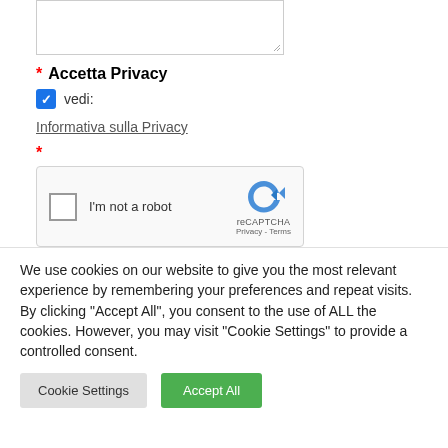[Figure (screenshot): Partially visible text input textarea with resize handle at bottom-right corner]
* Accetta Privacy
✓ vedi:
Informativa sulla Privacy
*
[Figure (screenshot): reCAPTCHA widget with unchecked checkbox and 'I'm not a robot' text, reCAPTCHA logo, Privacy and Terms links]
We use cookies on our website to give you the most relevant experience by remembering your preferences and repeat visits. By clicking "Accept All", you consent to the use of ALL the cookies. However, you may visit "Cookie Settings" to provide a controlled consent.
Cookie Settings   Accept All